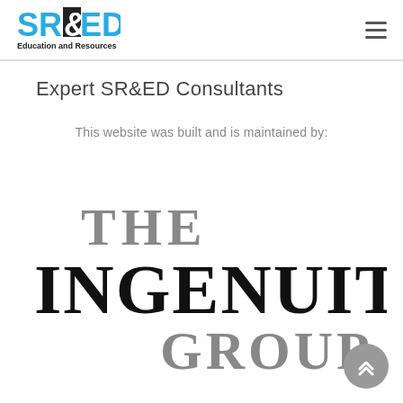SR&ED Education and Resources
Expert SR&ED Consultants
This website was built and is maintained by:
[Figure (logo): The Ingenuity Group logo in large stylized black and gray lettering]